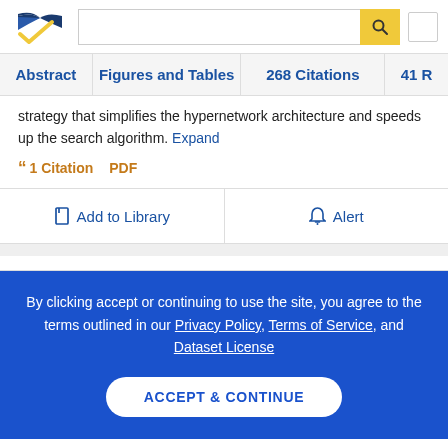[Figure (logo): Semantic Scholar logo — dark blue stylized open book with gold checkmark]
strategy that simplifies the hypernetwork architecture and speeds up the search algorithm. Expand
1 Citation  PDF
Add to Library
Alert
By clicking accept or continuing to use the site, you agree to the terms outlined in our Privacy Policy, Terms of Service, and Dataset License
ACCEPT & CONTINUE